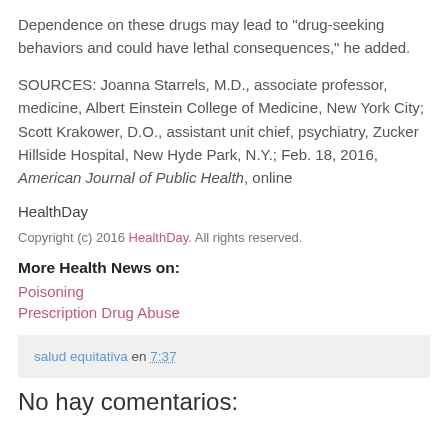Dependence on these drugs may lead to "drug-seeking behaviors and could have lethal consequences," he added.
SOURCES: Joanna Starrels, M.D., associate professor, medicine, Albert Einstein College of Medicine, New York City; Scott Krakower, D.O., assistant unit chief, psychiatry, Zucker Hillside Hospital, New Hyde Park, N.Y.; Feb. 18, 2016, American Journal of Public Health, online
HealthDay
Copyright (c) 2016 HealthDay. All rights reserved.
More Health News on:
Poisoning
Prescription Drug Abuse
salud equitativa en 7:37
No hay comentarios: